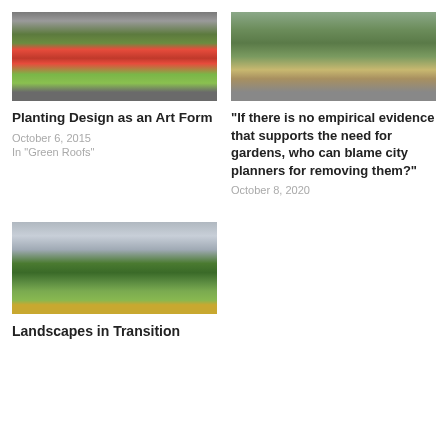[Figure (photo): Roadside with red poppies in bloom, cars visible on road]
[Figure (photo): Garden with trees, raised bed, wooden fence and shed in background]
Planting Design as an Art Form
October 6, 2015
In "Green Roofs"
“If there is no empirical evidence that supports the need for gardens, who can blame city planners for removing them?”
October 8, 2020
[Figure (photo): Landscape painting of green hills under cloudy sky]
Landscapes in Transition